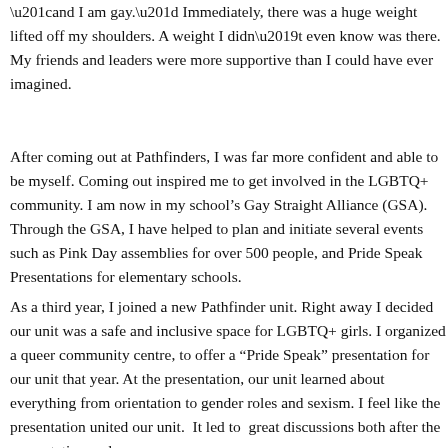“and I am gay.” Immediately, there was a huge weight lifted off my shoulders. A weight I didn’t even know was there. My friends and leaders were more supportive than I could have ever imagined.
After coming out at Pathfinders, I was far more confident and able to be myself. Coming out inspired me to get involved in the LGBTQ+ community. I am now in my school’s Gay Straight Alliance (GSA). Through the GSA, I have helped to plan and initiate several events such as Pink Day assemblies for over 500 people, and Pride Speak Presentations for elementary schools.
As a third year, I joined a new Pathfinder unit. Right away I decided our unit was a safe and inclusive space for LGBTQ+ girls. I organized a queer community centre, to offer a “Pride Speak” presentation for our unit that year. At the presentation, our unit learned about everything from sexual orientation to gender roles and sexism. I feel like the presentation united our unit. It led to great discussions both after the presentation and a…